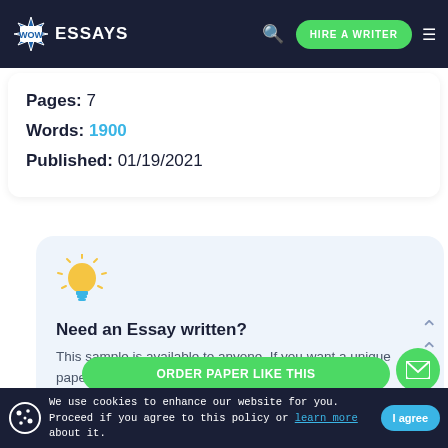[Figure (screenshot): WowEssays website header with logo, search icon, HIRE A WRITER button, and hamburger menu on dark navy background]
Pages: 7
Words: 1900
Published: 01/19/2021
[Figure (illustration): Light bulb icon with rays, yellow bulb on blue body]
Need an Essay written?
This sample is available to anyone. If you want a unique paper, order it from one of our professional writers.
ORDER PAPER LIKE THIS
We use cookies to enhance our website for you. Proceed if you agree to this policy or learn more about it.